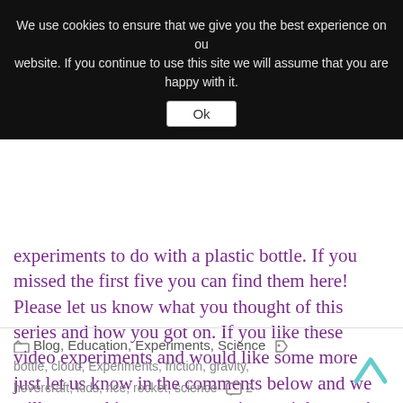We use cookies to ensure that we give you the best experience on our website. If you continue to use this site we will assume that you are happy with it.
Ok
experiments to do with a plastic bottle. If you missed the first five you can find them here! Please let us know what you thought of this series and how you got on. If you like these video experiments and would like some more just let us know in the comments below and we will get working on a new series straight away!
ENJOY!
Blog, Education, Experiments, Science  bottle, cloud, Experiments, friction, gravity, hovercraft, kids, rice, rocket, science  2